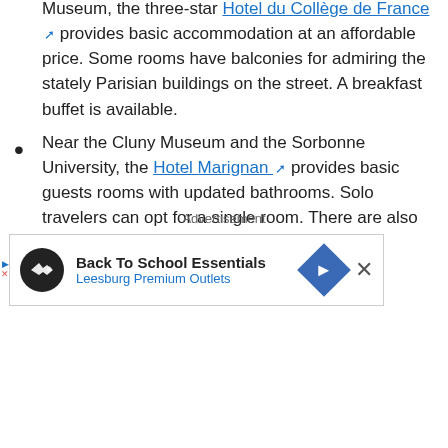Museum, the three-star Hotel du Collège de France provides basic accommodation at an affordable price. Some rooms have balconies for admiring the stately Parisian buildings on the street. A breakfast buffet is available.
Near the Cluny Museum and the Sorbonne University, the Hotel Marignan provides basic guests rooms with updated bathrooms. Solo travelers can opt for a single room. There are also double, triple, and quadruple rooms. Accommodations include a complimentary continental breakfast and laundry facilities.
Advertisement
[Figure (other): Advertisement banner for Back To School Essentials at Leesburg Premium Outlets, with circular icon, navigation arrow icon, and close button.]